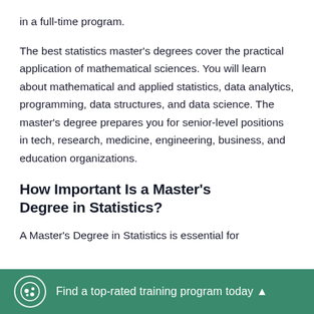in a full-time program.
The best statistics master's degrees cover the practical application of mathematical sciences. You will learn about mathematical and applied statistics, data analytics, programming, data structures, and data science. The master's degree prepares you for senior-level positions in tech, research, medicine, engineering, business, and education organizations.
How Important Is a Master's Degree in Statistics?
A Master's Degree in Statistics is essential for
Find a top-rated training program today ▲